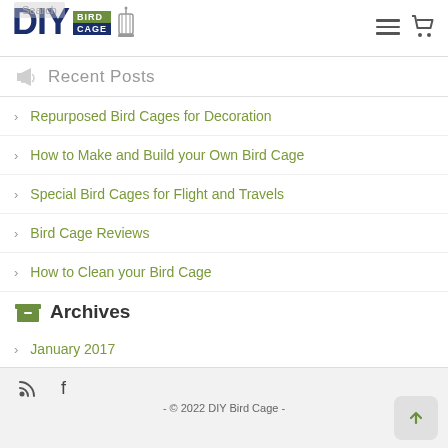DIY Bird Cage - Search
Recent Posts
Repurposed Bird Cages for Decoration
How to Make and Build your Own Bird Cage
Special Bird Cages for Flight and Travels
Bird Cage Reviews
How to Clean your Bird Cage
Archives
January 2017
Categories
general
- © 2022 DIY Bird Cage -